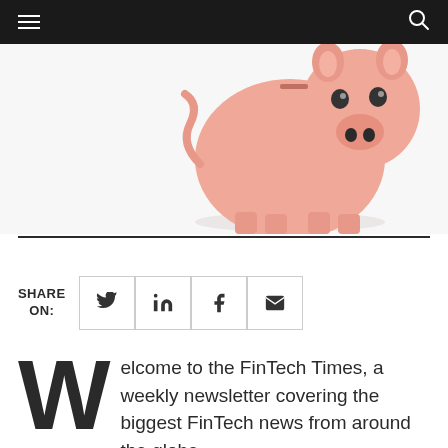Navigation bar with menu and search icons
[Figure (photo): A pink ceramic piggy bank on a white background, viewed from a slightly elevated angle showing the face and body]
SHARE ON:
[Figure (infographic): Social share buttons: Twitter, LinkedIn, Facebook, Email]
Welcome to the FinTech Times, a weekly newsletter covering the biggest FinTech news from around the globe